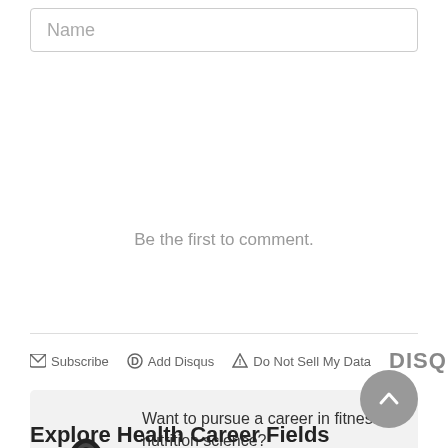Name
Be the first to comment.
[Figure (screenshot): Disqus comment toolbar with Subscribe, Add Disqus, Do Not Sell My Data links and Disqus logo]
[Figure (infographic): Promotional box with kettlebell fitness logo and text: Want to pursue a career in fitness or nutrition science? with a blue FIND A SCHOOL button]
Explore Health Career Fields